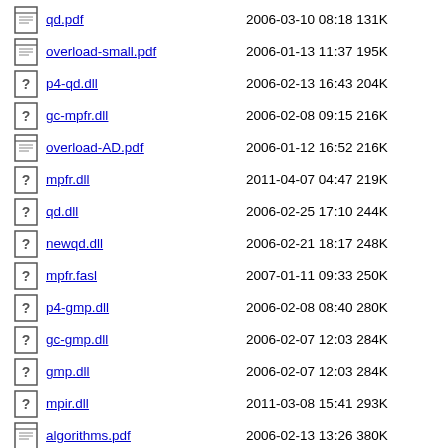qd.pdf  2006-03-10 08:18 131K
overload-small.pdf  2006-01-13 11:37 195K
p4-qd.dll  2006-02-13 16:43 204K
gc-mpfr.dll  2006-02-08 09:15 216K
overload-AD.pdf  2006-01-12 16:52 216K
mpfr.dll  2011-04-07 04:47 219K
qd.dll  2006-02-25 17:10 244K
newqd.dll  2006-02-21 18:17 248K
mpfr.fasl  2007-01-11 09:33 250K
p4-gmp.dll  2006-02-08 08:40 280K
gc-gmp.dll  2006-02-07 12:03 284K
gmp.dll  2006-02-07 12:03 284K
mpir.dll  2011-03-08 15:41 293K
algorithms.pdf  2006-02-13 13:26 380K
libmpfr-1.dll  2006-01-27 12:09 580K
old-gmp.dll  2002-05-26 15:01 668K
libgmp-3.dll  2006-01-27 12:10 734K